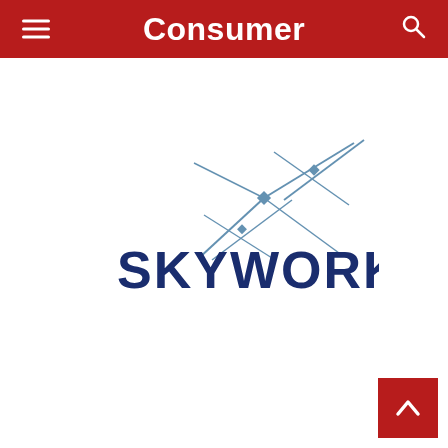Consumer
[Figure (logo): Skyworks Solutions logo with stylized star/asterisk graphic above the text SKYWORKS in dark navy blue with registered trademark symbol]
[Figure (other): Back to top button - red square with white upward chevron arrow in bottom right corner]